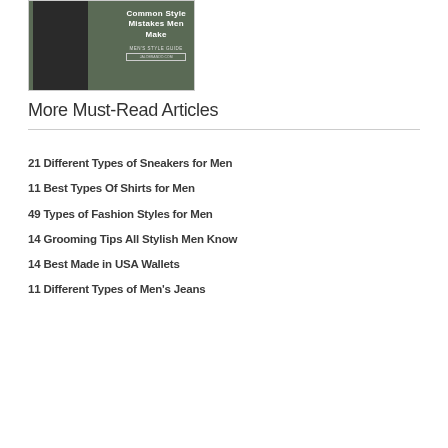[Figure (photo): Book or guide cover showing a suited man on a dark green background with text 'Common Style Mistakes Men Make', subtitle 'Men's Style Guide' and a website URL]
More Must-Read Articles
21 Different Types of Sneakers for Men
11 Best Types Of Shirts for Men
49 Types of Fashion Styles for Men
14 Grooming Tips All Stylish Men Know
14 Best Made in USA Wallets
11 Different Types of Men's Jeans